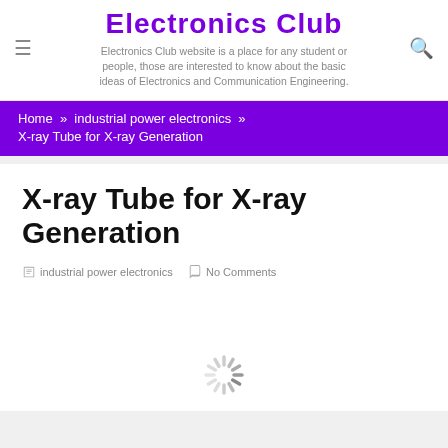Electronics Club
Electronics Club website is a place for any student or people, those are interested to know about the basic ideas of Electronics and Communication Engineering.
Home » industrial power electronics » X-ray Tube for X-ray Generation
X-ray Tube for X-ray Generation
industrial power electronics   No Comments
[Figure (other): Loading spinner graphic at bottom of page]